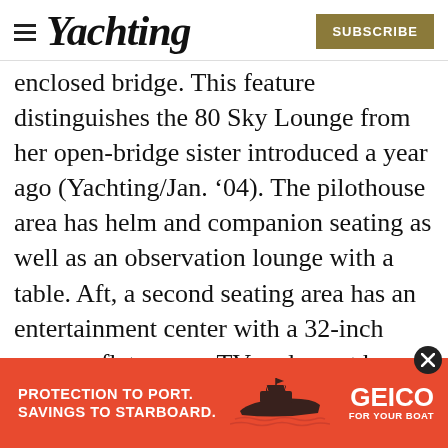Yachting | SUBSCRIBE
enclosed bridge. This feature distinguishes the 80 Sky Lounge from her open-bridge sister introduced a year ago (Yachting/Jan. ’04). The pilothouse area has helm and companion seating as well as an observation lounge with a table. Aft, a second seating area has an entertainment center with a 32-inch pop-up, flat-screen TV and a wet bar fitted with a refrigerator and an ice maker. A power window in the aft bulkhead provides fresh air. An exte... a table and a built-in grill. The boat deck.
[Figure (other): GEICO boat insurance advertisement with orange background. Text: PROTECTION TO PORT. SAVINGS TO STARBOARD. GEICO FOR YOUR BOAT. Shows a silhouette of a motorboat.]